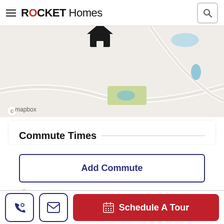ROCKET Homes
[Figure (map): Mapbox map showing a location with a house icon marker, blue water features, a green park area, and road paths on a light beige background. Mapbox attribution shown in lower left.]
Commute Times
Add Commute
Commute estimates provided by Mapbox.
Schedule A Tour